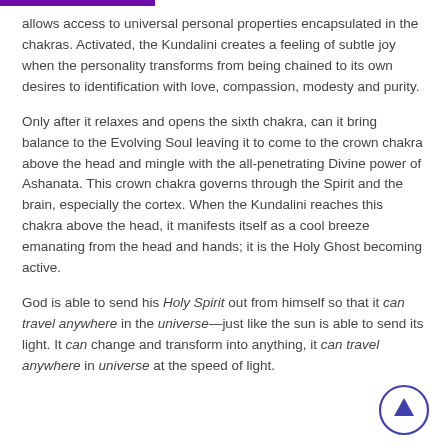allows access to universal personal properties encapsulated in the chakras. Activated, the Kundalini creates a feeling of subtle joy when the personality transforms from being chained to its own desires to identification with love, compassion, modesty and purity.
Only after it relaxes and opens the sixth chakra, can it bring balance to the Evolving Soul leaving it to come to the crown chakra above the head and mingle with the all-penetrating Divine power of Ashanata. This crown chakra governs through the Spirit and the brain, especially the cortex. When the Kundalini reaches this chakra above the head, it manifests itself as a cool breeze emanating from the head and hands; it is the Holy Ghost becoming active.
God is able to send his Holy Spirit out from himself so that it can travel anywhere in the universe—just like the sun is able to send its light. It can change and transform into anything, it can travel anywhere in universe at the speed of light.